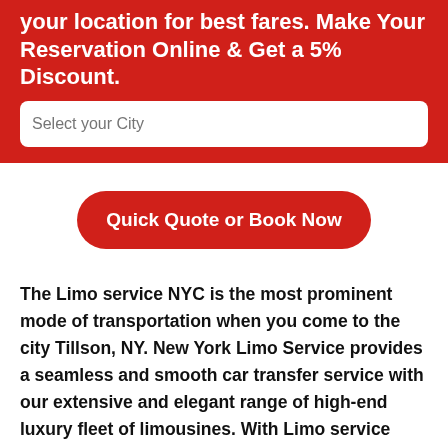your location for best fares. Make Your Reservation Online & Get a 5% Discount.
Select your City
Quick Quote or Book Now
The Limo service NYC is the most prominent mode of transportation when you come to the city Tillson, NY. New York Limo Service provides a seamless and smooth car transfer service with our extensive and elegant range of high-end luxury fleet of limousines. With Limo service New York at your service, we assure you to get you the most extraordinary, sophisticated, and enticing lifetime experience